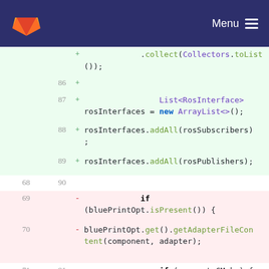GitLab Menu
[Figure (screenshot): Code diff view showing Java code changes with line numbers, added lines (green background) and removed lines (red/pink background). Added lines 86-89 show ArrayList and rosInterfaces code; removed lines 69-70, 72 show if/bluePrintOpt/res.addAll code.]